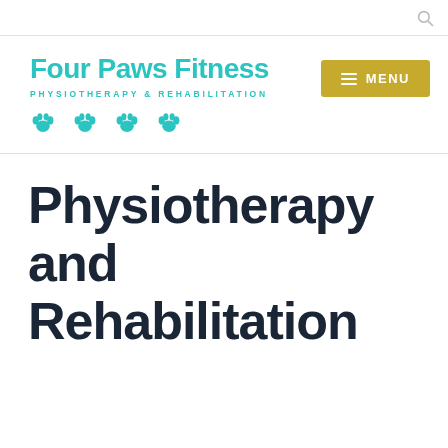Four Paws Fitness PHYSIOTHERAPY & REHABILITATION
Physiotherapy and Rehabilitation